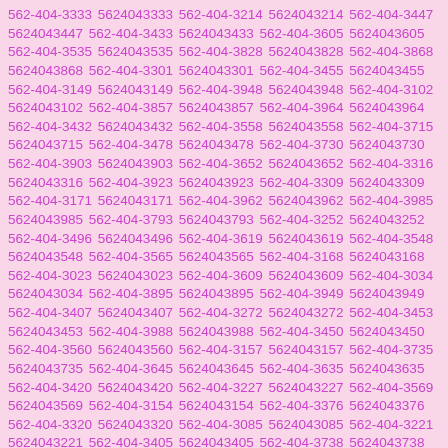562-404-3333 5624043333 562-404-3214 5624043214 562-404-3447 5624043447 562-404-3433 5624043433 562-404-3605 5624043605 562-404-3535 5624043535 562-404-3828 5624043828 562-404-3868 5624043868 562-404-3301 5624043301 562-404-3455 5624043455 562-404-3149 5624043149 562-404-3948 5624043948 562-404-3102 5624043102 562-404-3857 5624043857 562-404-3964 5624043964 562-404-3432 5624043432 562-404-3558 5624043558 562-404-3715 5624043715 562-404-3478 5624043478 562-404-3730 5624043730 562-404-3903 5624043903 562-404-3652 5624043652 562-404-3316 5624043316 562-404-3923 5624043923 562-404-3309 5624043309 562-404-3171 5624043171 562-404-3962 5624043962 562-404-3985 5624043985 562-404-3793 5624043793 562-404-3252 5624043252 562-404-3496 5624043496 562-404-3619 5624043619 562-404-3548 5624043548 562-404-3565 5624043565 562-404-3168 5624043168 562-404-3023 5624043023 562-404-3609 5624043609 562-404-3034 5624043034 562-404-3895 5624043895 562-404-3949 5624043949 562-404-3407 5624043407 562-404-3272 5624043272 562-404-3453 5624043453 562-404-3988 5624043988 562-404-3450 5624043450 562-404-3560 5624043560 562-404-3157 5624043157 562-404-3735 5624043735 562-404-3645 5624043645 562-404-3635 5624043635 562-404-3420 5624043420 562-404-3227 5624043227 562-404-3569 5624043569 562-404-3154 5624043154 562-404-3376 5624043376 562-404-3320 5624043320 562-404-3085 5624043085 562-404-3221 5624043221 562-404-3405 5624043405 562-404-3738 5624043738 562-404-3779 5624043779 562-404-3901 5624043901 562-404-3462 5624043462 562-404-3502 5624043502 562-404-3986 5624043986 562-404-3349 5624043349 562-404-3919 5624043919 562-404-3970